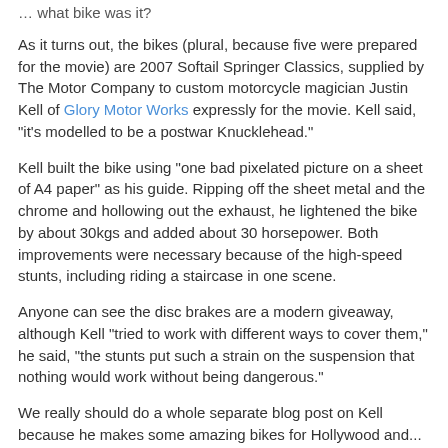… what bike was it?
As it turns out, the bikes (plural, because five were prepared for the movie) are 2007 Softail Springer Classics, supplied by The Motor Company to custom motorcycle magician Justin Kell of Glory Motor Works expressly for the movie. Kell said, "it's modelled to be a postwar Knucklehead."
Kell built the bike using "one bad pixelated picture on a sheet of A4 paper" as his guide. Ripping off the sheet metal and the chrome and hollowing out the exhaust, he lightened the bike by about 30kgs and added about 30 horsepower. Both improvements were necessary because of the high-speed stunts, including riding a staircase in one scene.
Anyone can see the disc brakes are a modern giveaway, although Kell "tried to work with different ways to cover them," he said, "the stunts put such a strain on the suspension that nothing would work without being dangerous."
We really should do a whole separate blog post on Kell because he makes some amazing bikes for Hollywood and...